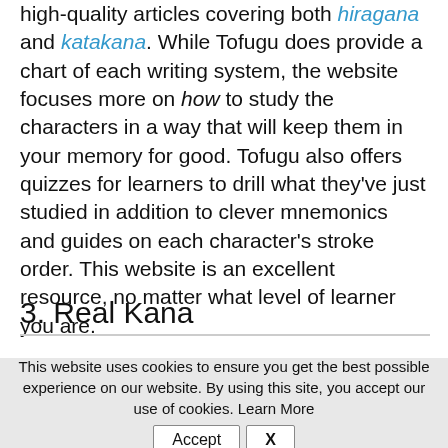high-quality articles covering both hiragana and katakana. While Tofugu does provide a chart of each writing system, the website focuses more on how to study the characters in a way that will keep them in your memory for good. Tofugu also offers quizzes for learners to drill what they've just studied in addition to clever mnemonics and guides on each character's stroke order. This website is an excellent resource, no matter what level of learner you are.
3. Real Kana
This website uses cookies to ensure you get the best possible experience on our website. By using this site, you accept our use of cookies. Learn More